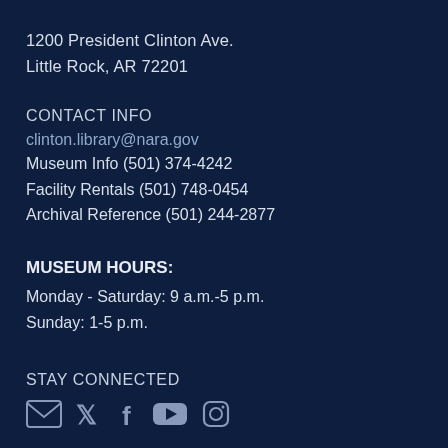1200 President Clinton Ave.
Little Rock, AR 72201
CONTACT INFO
clinton.library@nara.gov
Museum Info (501) 374-4242
Facility Rentals (501) 748-0454
Archival Reference (501) 244-2877
MUSEUM HOURS:
Monday - Saturday: 9 a.m.-5 p.m.
Sunday: 1-5 p.m.
STAY CONNECTED
[Figure (illustration): Social media icons at the bottom of the page (partially visible)]